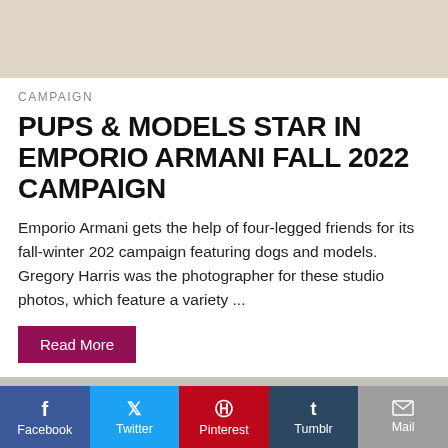[Figure (photo): Partial image at top, beige/tan background color]
CAMPAIGN
PUPS & MODELS STAR IN EMPORIO ARMANI FALL 2022 CAMPAIGN
Emporio Armani gets the help of four-legged friends for its fall-winter 202 campaign featuring dogs and models. Gregory Harris was the photographer for these studio photos, which feature a variety ...
Read More
[Figure (photo): Partial image at bottom, gray tones]
Facebook  Twitter  Pinterest  Tumblr  Mail